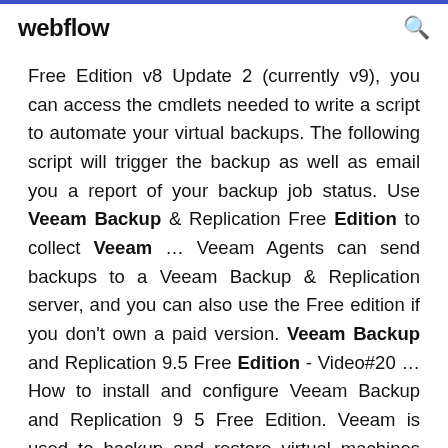webflow
Free Edition v8 Update 2 (currently v9), you can access the cmdlets needed to write a script to automate your virtual backups. The following script will trigger the backup as well as email you a report of your backup job status. Use Veeam Backup & Replication Free Edition to collect Veeam … Veeam Agents can send backups to a Veeam Backup & Replication server, and you can also use the Free edition if you don't own a paid version. Veeam Backup and Replication 9.5 Free Edition - Video#20 … How to install and configure Veeam Backup and Replication 9 5 Free Edition. Veeam is used to backup and restore virtual machines with an easy to use interface, for access to additional